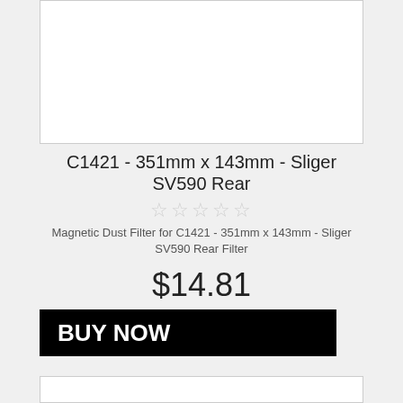[Figure (photo): Product image area - white background box showing top portion of a magnetic dust filter product]
C1421 - 351mm x 143mm - Sliger SV590 Rear
★★★★★ (empty star rating)
Magnetic Dust Filter for C1421 - 351mm x 143mm - Sliger SV590 Rear Filter
$14.81
BUY NOW
[Figure (photo): Second product listing image - white box with DEMCiflex logo and black rectangular magnetic dust filter product partially visible]